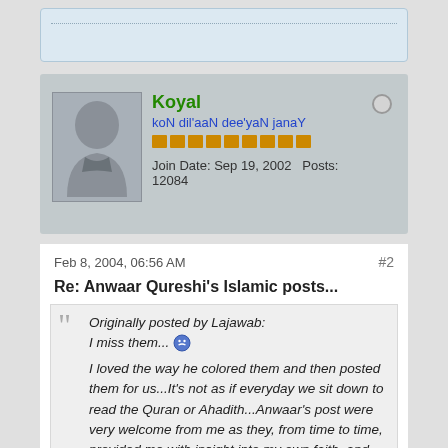[Figure (screenshot): Top portion of a forum thread page showing a previous post box, user profile card for 'Koyal', and a post with a quoted reply.]
Koyal
koN dil'aaN dee'yaN janaY
Join Date: Sep 19, 2002   Posts: 12084
Feb 8, 2004, 06:56 AM
#2
Re: Anwaar Qureshi's Islamic posts...
Originally posted by Lajawab:
I miss them...
I loved the way he colored them and then posted them for us...It's not as if everyday we sit down to read the Quran or Ahadith...Anwaar's post were very welcome from me as they, from time to time, provided me with insight into my own faith, and may Allah :swt: bless Anwaar for doing that and to learn from what he posts...After all, in the eyes of Allah :swt:, we will be held accountable in what we believed in and respected...

As for those who say that Anwaar's posts were like throwing religion in your face, I totally disagree. This